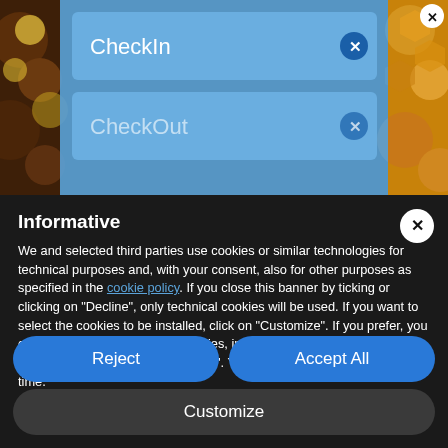[Figure (screenshot): Background showing a hotel booking app with a blue 'CheckIn' input field and a partially visible 'CheckOut' field, overlaid on a food/cookie background image]
Informative
We and selected third parties use cookies or similar technologies for technical purposes and, with your consent, also for other purposes as specified in the cookie policy. If you close this banner by ticking or clicking on "Decline", only technical cookies will be used. If you want to select the cookies to be installed, click on "Customize". If you prefer, you can consent to the use of all cookies, including those other than technical, by clicking on "Accept all". You can change your choice at any time.
Reject
Accept All
Customize